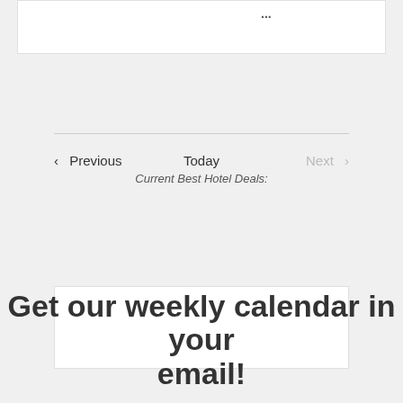[Figure (screenshot): Top white content box with partially visible text (ellipsis/dots) at the top of the page]
< Previous
Today
Current Best Hotel Deals:
Next >
[Figure (screenshot): White empty content box below the navigation bar]
Get our weekly calendar in your email!